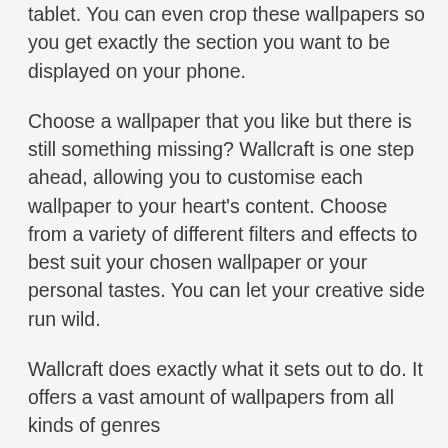tablet. You can even crop these wallpapers so you get exactly the section you want to be displayed on your phone.
Choose a wallpaper that you like but there is still something missing? Wallcraft is one step ahead, allowing you to customise each wallpaper to your heart's content. Choose from a variety of different filters and effects to best suit your chosen wallpaper or your personal tastes. You can let your creative side run wild.
Wallcraft does exactly what it sets out to do. It offers a vast amount of wallpapers from all kinds of genres